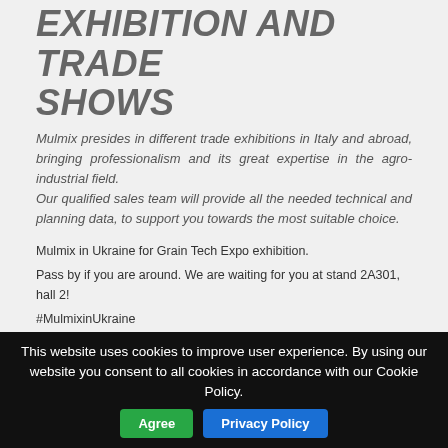EXHIBITION AND TRADE SHOWS
Mulmix presides in different trade exhibitions in Italy and abroad, bringing professionalism and its great expertise in the agro-industrial field. Our qualified sales team will provide all the needed technical and planning data, to support you towards the most suitable choice.
Mulmix in Ukraine for Grain Tech Expo exhibition.
Pass by if you are around. We are waiting for you at stand 2A301, hall 2!
#MulmixinUkraine
ARCHIVE
GENERAL PURCHASE TERMS AND CONDITIONS - PRIVACY POLICY
This website uses cookies to improve user experience. By using our website you consent to all cookies in accordance with our Cookie Policy. Agree Privacy Policy